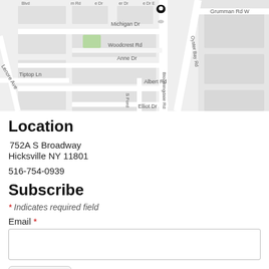[Figure (map): Street map showing area around 752A S Broadway, Hicksville NY 11801. Map shows streets including Bloomingdale Rd, Grumman Rd W, Oyster Bay Rd, Michigan Dr, Woodcrest Rd, Anne Dr, Tiptop Ln, Albert Rd, Elliot Dr, Lenore Ave, and others. A map pin marker is placed on Bloomingdale Rd near the top center of the map.]
Location
752A S Broadway
Hicksville NY 11801
516-754-0939
Subscribe
* Indicates required field
Email *
Submit